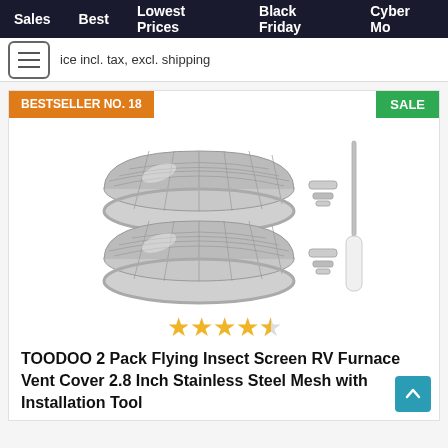Sales   Best   Lowest Prices   Black Friday   Cyber Mo
ice incl. tax, excl. shipping
BESTSELLER NO. 18
SALE
[Figure (photo): Two stainless steel mesh dome-shaped RV furnace vent covers with spring clips and an installation tool (white-handled needle tool)]
★★★★☆ (4.5 stars)
TOODOO 2 Pack Flying Insect Screen RV Furnace Vent Cover 2.8 Inch Stainless Steel Mesh with Installation Tool